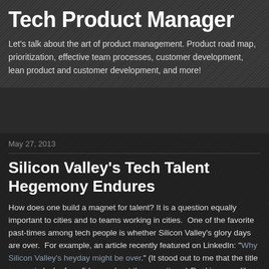Tech Product Manager
Let's talk about the art of product management. Product road map, prioritization, effective team processes, customer development, lean product and customer development, and more!
May 27, 2013
Silicon Valley's Tech Talent Hegemony Endures
How does one build a magnet for talent? It is a question equally important to cities and to teams working in cities.  One of the favorite past-times among tech people is whether Silicon Valley's glory days are over.  For example, an article recently featured on LinkedIn: "Why Silicon Valley's heyday might be over." (It stood out to me that the title suggests lack of confidence about the assertions.)  Rankings are like comfort food. They are dime a dozen (so